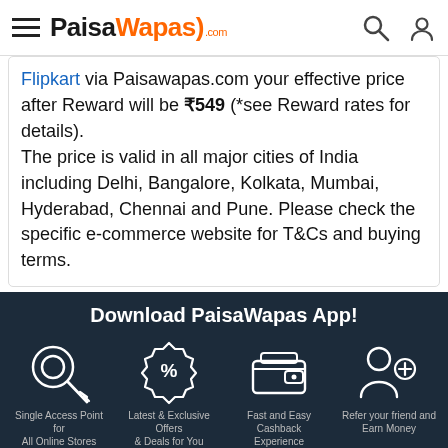[Figure (logo): PaisaWapas.com logo with hamburger menu icon, search icon, and user icon in header]
Flipkart via Paisawapas.com your effective price after Reward will be ₹549 (*see Reward rates for details). The price is valid in all major cities of India including Delhi, Bangalore, Kolkata, Mumbai, Hyderabad, Chennai and Pune. Please check the specific e-commerce website for T&Cs and buying terms.
Download PaisaWapas App!
[Figure (infographic): Four feature icons: Single Access Point for All Online Stores (key icon), Latest & Exclusive Offers & Deals for You (percent badge icon), Fast and Easy Cashback Experience (wallet icon), Refer your friend and Earn Money (people+ icon)]
GET IT ON
[Figure (infographic): Bottom bar with WhatsApp green section with icon, BUY NOW orange button, and We're Online chat bubble widget]